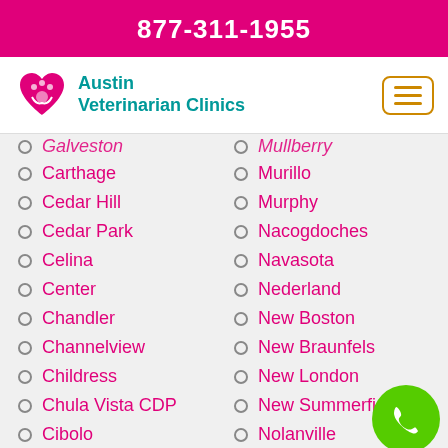877-311-1955
[Figure (logo): Austin Veterinarian Clinics logo with heart and paw icon]
Galveston
Mullberry
Carthage
Murillo
Cedar Hill
Murphy
Cedar Park
Nacogdoches
Celina
Navasota
Center
Nederland
Chandler
New Boston
Channelview
New Braunfels
Childress
New London
Chula Vista CDP
New Summerfield
Cibolo
Nolanville
Cinco Ranch
North Houston
Cleburne
North Richland Hills